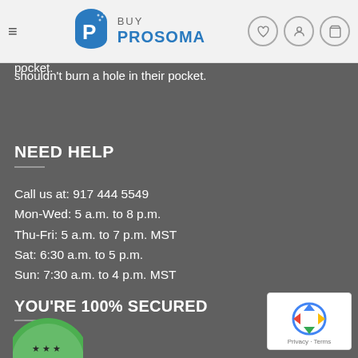Buy Prosoma pharmacy navigation header with logo and icons
aims to deliver medications at cost effective prices. At Buy Prosoma pharmacy, we believe that everyone has the right to quality treatment and that it shouldn’t burn a hole in their pocket.
NEED HELP
Call us at: 917 444 5549
Mon-Wed: 5 a.m. to 8 p.m.
Thu-Fri: 5 a.m. to 7 p.m. MST
Sat: 6:30 a.m. to 5 p.m.
Sun: 7:30 a.m. to 4 p.m. MST
YOU’RE 100% SECURED
[Figure (logo): Green circular badge/seal with stars at bottom of page]
[Figure (other): Google reCAPTCHA widget box with Privacy and Terms links]